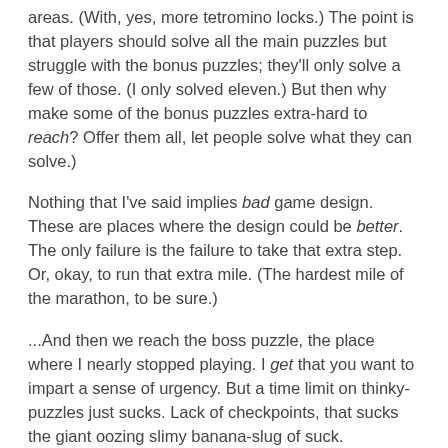areas. (With, yes, more tetromino locks.) The point is that players should solve all the main puzzles but struggle with the bonus puzzles; they'll only solve a few of those. (I only solved eleven.) But then why make some of the bonus puzzles extra-hard to reach? Offer them all, let people solve what they can solve.)
Nothing that I've said implies bad game design. These are places where the design could be better. The only failure is the failure to take that extra step. Or, okay, to run that extra mile. (The hardest mile of the marathon, to be sure.)
...And then we reach the boss puzzle, the place where I nearly stopped playing. I get that you want to impart a sense of urgency. But a time limit on thinky-puzzles just sucks. Lack of checkpoints, that sucks the giant oozing slimy banana-slug of suck.
What's that you say? Both Portal and Portal 2 had time limits in their endgame puzzles? Yes, but they had really good checkpointing. If the neurotoxin killed you, you restarted that stage of the endgame, working on the same task as before.